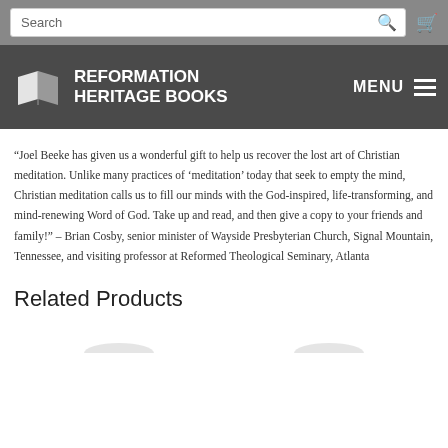Search bar and Reformation Heritage Books navigation header with MENU
“Joel Beeke has given us a wonderful gift to help us recover the lost art of Christian meditation. Unlike many practices of ‘meditation’ today that seek to empty the mind, Christian meditation calls us to fill our minds with the God-inspired, life-transforming, and mind-renewing Word of God. Take up and read, and then give a copy to your friends and family!” – Brian Cosby, senior minister of Wayside Presbyterian Church, Signal Mountain, Tennessee, and visiting professor at Reformed Theological Seminary, Atlanta
Related Products